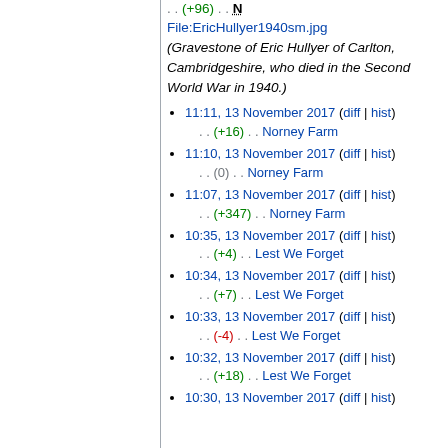. . (+96) . . N File:EricHullyer1940sm.jpg (Gravestone of Eric Hullyer of Carlton, Cambridgeshire, who died in the Second World War in 1940.)
11:11, 13 November 2017 (diff | hist) . . (+16) . . Norney Farm
11:10, 13 November 2017 (diff | hist) . . (0) . . Norney Farm
11:07, 13 November 2017 (diff | hist) . . (+347) . . Norney Farm
10:35, 13 November 2017 (diff | hist) . . (+4) . . Lest We Forget
10:34, 13 November 2017 (diff | hist) . . (+7) . . Lest We Forget
10:33, 13 November 2017 (diff | hist) . . (-4) . . Lest We Forget
10:32, 13 November 2017 (diff | hist) . . (+18) . . Lest We Forget
10:30, 13 November 2017 (diff | hist)